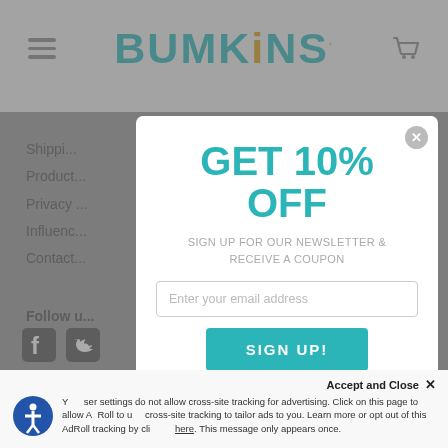[Figure (screenshot): Bumkins website header with hamburger menu, teal logo, and cart icon on a light background]
Shipping
Product
Privacy
Influenc
Contact
[Figure (infographic): Modal popup with GET 10% OFF headline, email signup form, and SIGN UP! button]
GET 10% OFF
SIGN UP FOR OUR NEWSLETTER & RECEIVE A COUPON
Enter your email address
SIGN UP!
Follow u
Accept and Close ✕
Your browser settings do not allow cross-site tracking for advertising. Click on this page to allow AdRoll to use cross-site tracking to tailor ads to you. Learn more or opt out of this AdRoll tracking by clicking here. This message only appears once.